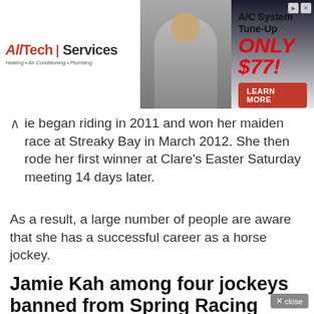[Figure (screenshot): Advertisement banner for AllTech Services showing A/C System Tune-Up for ONLY $77! with a LEARN MORE button and a photo of a technician.]
ie began riding in 2011 and won her maiden race at Streaky Bay in March 2012. She then rode her first winner at Clare's Easter Saturday meeting 14 days later.
As a result, a large number of people are aware that she has a successful career as a horse jockey.
Jamie Kah among four jockeys banned from Spring Racing Carnival for COVID-19 breach